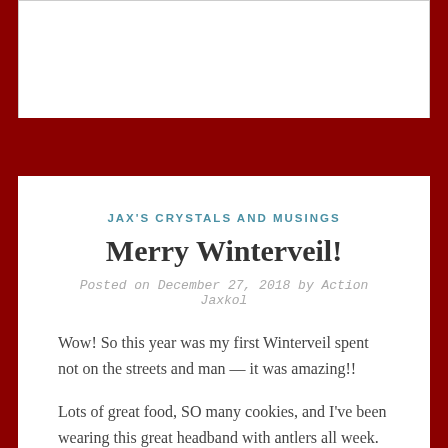JAX'S CRYSTALS AND MUSINGS
Merry Winterveil!
Posted on December 27, 2018 by Action Jaxkol
Wow! So this year was my first Winterveil spent not on the streets and man — it was amazing!!
Lots of great food, SO many cookies, and I've been wearing this great headband with antlers all week. It has jingle bells on it. It's very obnoxious. I love it.